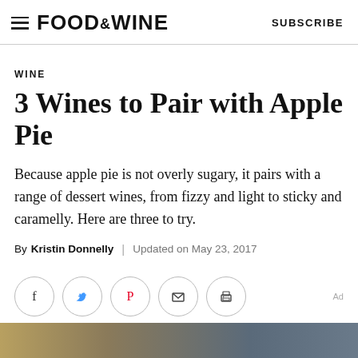FOOD&WINE  SUBSCRIBE
WINE
3 Wines to Pair with Apple Pie
Because apple pie is not overly sugary, it pairs with a range of dessert wines, from fizzy and light to sticky and caramelly. Here are three to try.
By Kristin Donnelly | Updated on May 23, 2017
[Figure (other): Social sharing buttons: Facebook, Twitter, Pinterest, Email, Print. Ad label on right.]
[Figure (photo): Partial photo at bottom of page showing food/pie related image]